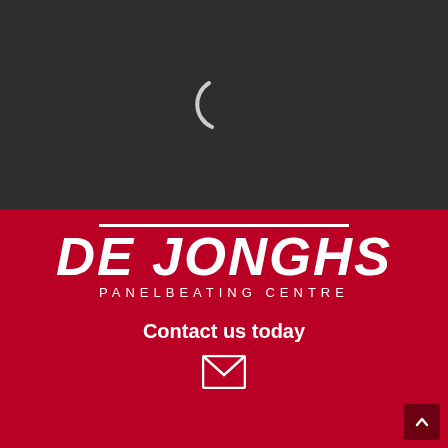[Figure (illustration): Dark grey background with a white loading spinner arc (C-shape) centered in the upper half of the page]
[Figure (logo): De Jonghs Panelbeating Centre logo in white italic bold text on red background with two horizontal white lines above the text and PANELBEATING CENTRE subtitle in white spaced uppercase letters]
Contact us today
[Figure (illustration): White envelope icon (outline) centered below Contact us today text]
[Figure (illustration): Dark red scroll-to-top button with upward chevron arrow in bottom right corner]